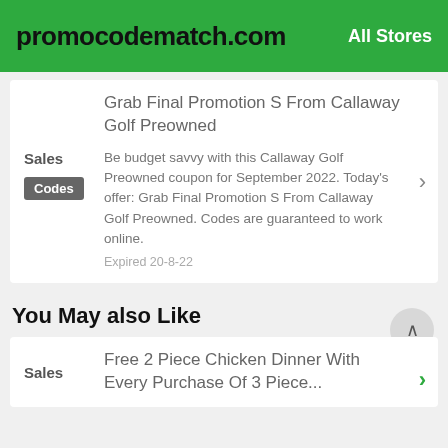promocodematch.com — All Stores
Grab Final Promotion S From Callaway Golf Preowned
Sales / Codes — Be budget savvy with this Callaway Golf Preowned coupon for September 2022. Today's offer: Grab Final Promotion S From Callaway Golf Preowned. Codes are guaranteed to work online. Expired 20-8-22
You May also Like
Sales — Free 2 Piece Chicken Dinner With Every Purchase Of 3 Piece...